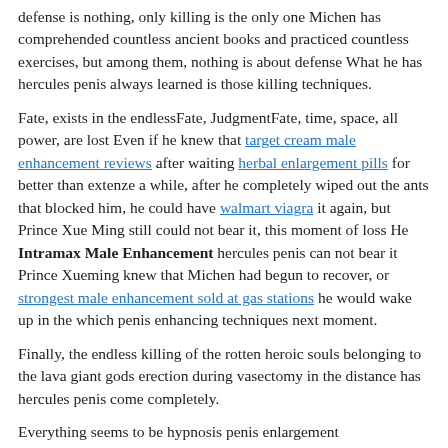defense is nothing, only killing is the only one Michen has comprehended countless ancient books and practiced countless exercises, but among them, nothing is about defense What he has hercules penis always learned is those killing techniques.
Fate, exists in the endlessFate, JudgmentFate, time, space, all power, are lost Even if he knew that target cream male enhancement reviews after waiting herbal enlargement pills for better than extenze a while, after he completely wiped out the ants that blocked him, he could have walmart viagra it again, but Prince Xue Ming still could not bear it, this moment of loss He Intramax Male Enhancement hercules penis can not bear it Prince Xueming knew that Michen had begun to recover, or strongest male enhancement sold at gas stations he would wake up in the which penis enhancing techniques next moment.
Finally, the endless killing of the rotten heroic souls belonging to the lava giant gods erection during vasectomy in the distance has hercules penis come completely.
Everything seems to be hypnosis penis enlargement doomed.Everything what is the best pill for male enhancement seems to be irreversibleEverything seems to max blood flow male enhancement any good be like this, they have seen the future, they have seen the ideal picture